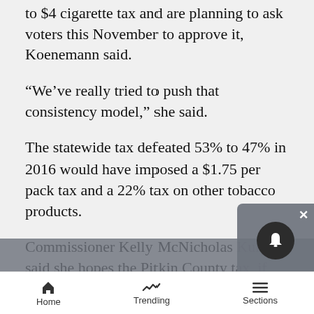to $4 cigarette tax and are planning to ask voters this November to approve it, Koenemann said.
“We’ve really tried to push that consistency model,” she said.
The statewide tax defeated 53% to 47% in 2016 would have imposed a $1.75 per pack tax and a 22% tax on other tobacco products.
Commissioner Kelly McNicholas Kury said she hopes the Pitkin County tax, if approved, will lead all smokers in Pitkin County to quit tobacco for good.
“My hope is we collect zero dollars from this tax eventually,” she said.
Commissioner Patti Clapper said she hopes to
Home  Trending  Sections